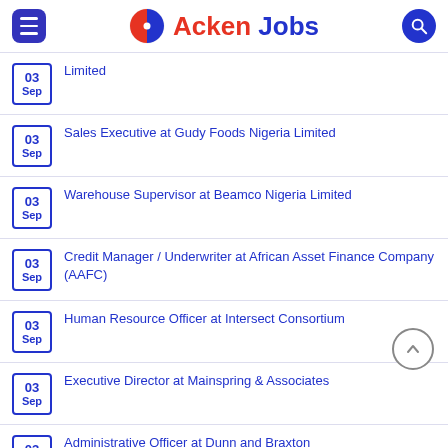Acken Jobs
03 Sep — Limited
03 Sep — Sales Executive at Gudy Foods Nigeria Limited
03 Sep — Warehouse Supervisor at Beamco Nigeria Limited
03 Sep — Credit Manager / Underwriter at African Asset Finance Company (AAFC)
03 Sep — Human Resource Officer at Intersect Consortium
03 Sep — Executive Director at Mainspring & Associates
03 Sep — Administrative Officer at Dunn and Braxton